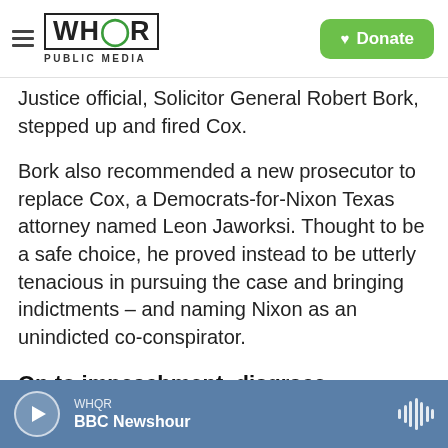WHQR PUBLIC MEDIA — Donate
Justice official, Solicitor General Robert Bork, stepped up and fired Cox.
Bork also recommended a new prosecutor to replace Cox, a Democrats-for-Nixon Texas attorney named Leon Jaworksi. Thought to be a safe choice, he proved instead to be utterly tenacious in pursuing the case and bringing indictments – and naming Nixon as an unindicted co-conspirator.
On to impeachment, disgrace
Meanwhile, the House Judiciary Committee had
WHQR — BBC Newshour